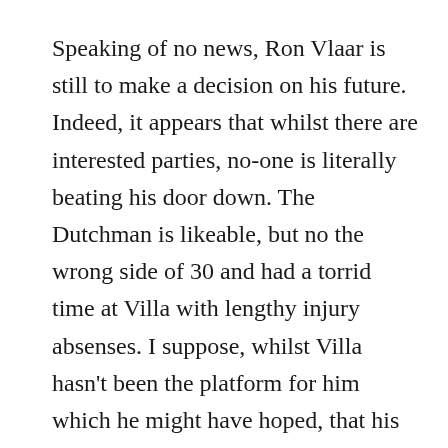Speaking of no news, Ron Vlaar is still to make a decision on his future. Indeed, it appears that whilst there are interested parties, no-one is literally beating his door down. The Dutchman is likeable, but no the wrong side of 30 and had a torrid time at Villa with lengthy injury absenses. I suppose, whilst Villa hasn't been the platform for him which he might have hoped, that his future may lie somewhere better than a circus like Newcastle United. However, football isn't everything & Ron has been spending his time of late in India following up the work of a foundation which he has donated significantly because of his own experiences